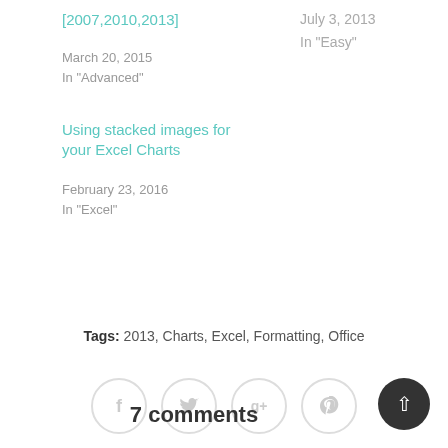[2007,2010,2013]
March 20, 2015
In "Advanced"
July 3, 2013
In "Easy"
Using stacked images for your Excel Charts
February 23, 2016
In "Excel"
Tags: 2013, Charts, Excel, Formatting, Office
[Figure (other): Social sharing buttons: Facebook, Twitter, Google+, Pinterest]
7 comments